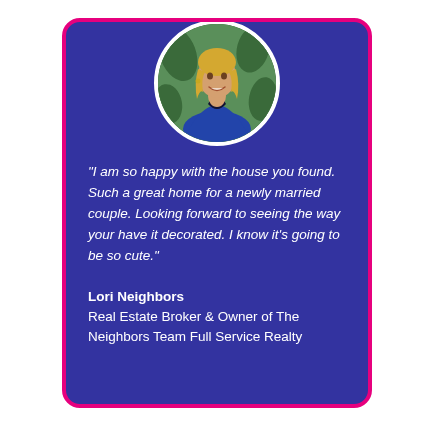[Figure (photo): Circular headshot photo of a blonde woman smiling, wearing a blue blazer, with green foliage background]
“I am so happy with the house you found. Such a great home for a newly married couple. Looking forward to seeing the way your have it decorated. I know it’s going to be so cute.”
Lori Neighbors
Real Estate Broker & Owner of The Neighbors Team Full Service Realty